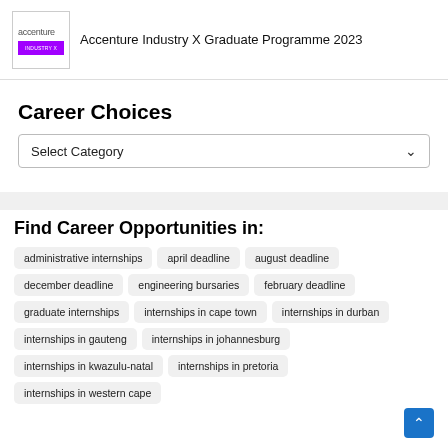[Figure (logo): Accenture logo with purple banner below it]
Accenture Industry X Graduate Programme 2023
Career Choices
Select Category
Find Career Opportunities in:
administrative internships
april deadline
august deadline
december deadline
engineering bursaries
february deadline
graduate internships
internships in cape town
internships in durban
internships in gauteng
internships in johannesburg
internships in kwazulu-natal
internships in pretoria
internships in western cape